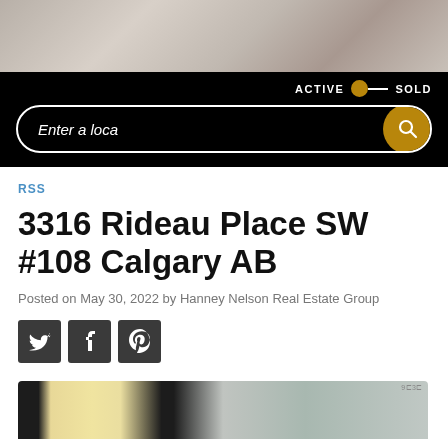[Figure (photo): Top banner photo showing interior room with sofa and decor]
[Figure (screenshot): Navigation bar with ACTIVE/SOLD toggle and search input field with magnifying glass button]
RSS
3316 Rideau Place SW #108 Calgary AB
Posted on May 30, 2022 by Hanney Nelson Real Estate Group
[Figure (infographic): Social media share buttons: Twitter, Facebook, Pinterest]
[Figure (photo): Bottom partial photo showing real estate property interior with floor plan and window view]